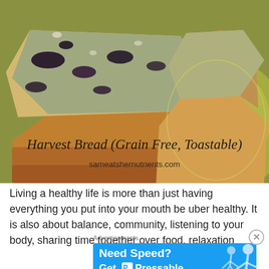[Figure (photo): Photo of slices of harvest bread (grain free, toastable) on a yellow-green plate, with dark berry/raisin swirls visible in the crumb. Text overlay reads: 'Harvest Bread (Grain Free, Toastable)' and 'sameatshernutrients.com']
Living a healthy life is more than just having everything you put into your mouth be uber healthy. It is also about balance, community, listening to your body, sharing time together over food, relaxation
Advertisements
[Figure (screenshot): Blue advertisement banner: 'Need Speed? Get P Pressable' with a running figure illustration]